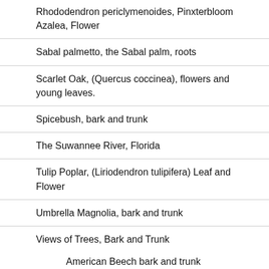Rhododendron periclymenoides, Pinxterbloom Azalea, Flower
Sabal palmetto, the Sabal palm, roots
Scarlet Oak, (Quercus coccinea), flowers and young leaves.
Spicebush, bark and trunk
The Suwannee River, Florida
Tulip Poplar, (Liriodendron tulipifera) Leaf and Flower
Umbrella Magnolia, bark and trunk
Views of Trees, Bark and Trunk
American Beech bark and trunk
American Chestnut: Leaf, Flower, Stem, Bark and Pollinating insects